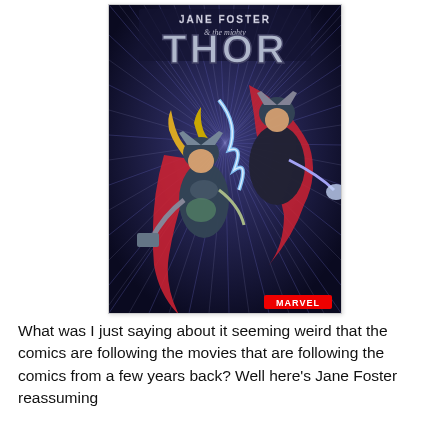[Figure (illustration): Comic book cover: 'Jane Foster & The Mighty Thor' — Marvel Comics. Two Thor-armored figures in dynamic action pose against a radial speed-line background of dark blue and white. The foreground figure is female Thor (Jane Foster) wielding Mjolnir with golden hair streaming, the background figure is male Thor shooting lightning. Title text 'Jane Foster & the Mighty Thor' at top and 'THOR' in large silver letters. Marvel logo in bottom right corner.]
What was I just saying about it seeming weird that the comics are following the movies that are following the comics from a few years back? Well here's Jane Foster reassuming